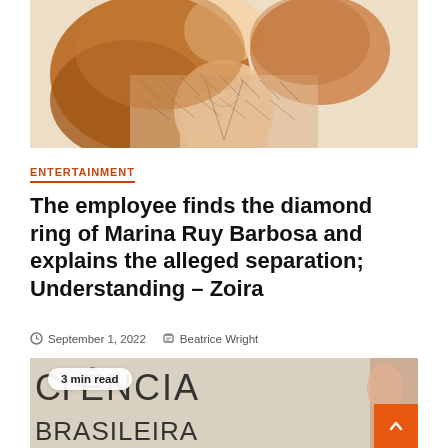[Figure (photo): Woman with long red/auburn hair wearing a floral patterned blazer or jacket, shot from chest up]
ENTERTAINMENT
The employee finds the diamond ring of Marina Ruy Barbosa and explains the alleged separation; Understanding – Zoira
September 1, 2022  Beatrice Wright
[Figure (photo): Sign with handwritten text reading 'CIÊNCIA BRASILEIRA' (Brazilian Science), with a person's hand visible at the right edge. A '3 min read' badge overlays the top left corner.]